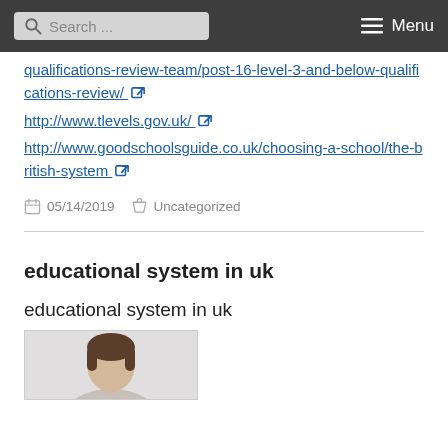Search ... Menu
qualifications-review-team/post-16-level-3-and-below-qualifications-review/
http://www.tlevels.gov.uk/
http://www.goodschoolsguide.co.uk/choosing-a-school/the-british-system
05/14/2019  Uncategorized
educational system in uk
educational system in uk
[Figure (photo): Portrait photo of a person (woman with dark hair) partially visible at bottom of page]